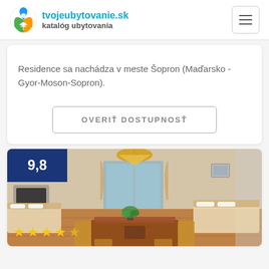tvojeubytovanie.sk katalóg ubytovania
Residence sa nachádza v meste Šopron (Maďarsko - Gyor-Moson-Sopron).
OVERIŤ DOSTUPNOSŤ
[Figure (photo): Interior photo of a room with dining table, chairs, beds, plants, and a lamp. Score badge showing 9,8 and 4 star rating overlay.]